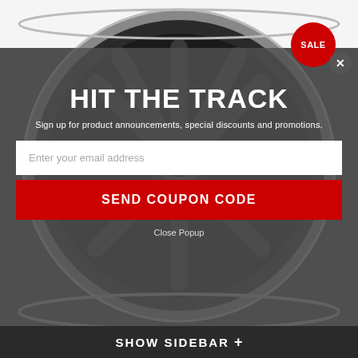[Figure (photo): Black automotive wheel/rim product photo against white background, showing a deep-dish multi-spoke wheel with chrome lip]
HIT THE TRACK
Sign up for product announcements, special discounts and promotions.
Enter your email address
SEND COUPON CODE
Close Popup
SHOW SIDEBAR +